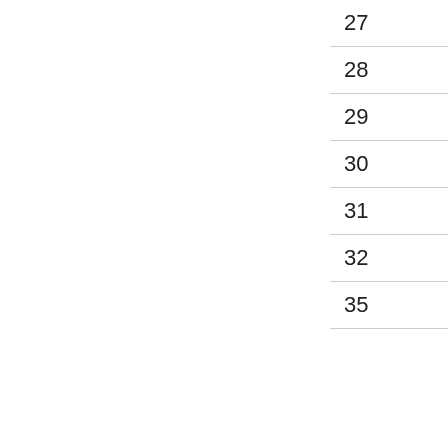| 27 |
| 28 |
| 29 |
| 30 |
| 31 |
| 32 |
| 35 |